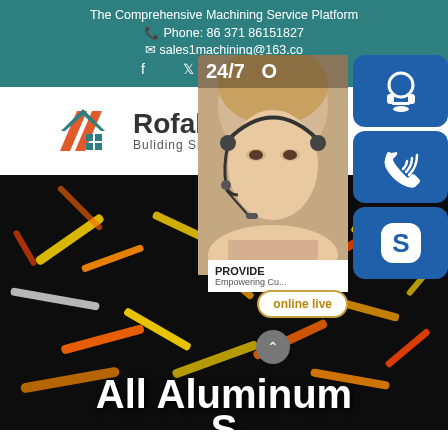The Comprehensive Machining Service Platform
Phone: 86 371 86151827
sales1machining@163.co
f  𝕏  ℗  in
[Figure (logo): Rofalco logo with orange and teal roof/house icon and text 'Rofalco Buliding Since 2005']
[Figure (infographic): Right-side contact panel: 24/7 label, customer service representative photo, headset icon button, phone icon button, Skype icon button, PROVIDE/Empowering Customers text, online live button, up arrow circle]
[Figure (photo): Dark background with colorful illuminated sticks/rods scattered across a dark surface]
All Aluminum